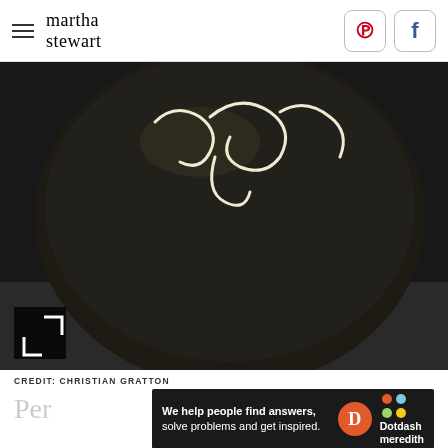martha stewart
[Figure (photo): Close-up photo of a dark chocolate truffle or cake with white chocolate script writing on top, on a dark background]
CREDIT: CHRISTIAN GRATTON
Per...
[Figure (infographic): Dotdash Meredith advertisement banner: 'We help people find answers, solve problems and get inspired.' with Dotdash Meredith logo]